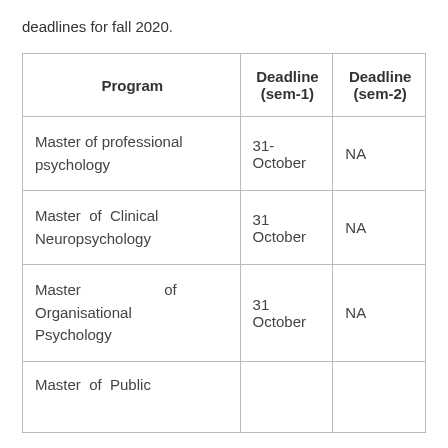deadlines for fall 2020.
| Program | Deadline (sem-1) | Deadline (sem-2) |
| --- | --- | --- |
| Master of professional psychology | 31-October | NA |
| Master of Clinical Neuropsychology | 31 October | NA |
| Master of Organisational Psychology | 31 October | NA |
| Master of Public … |  |  |